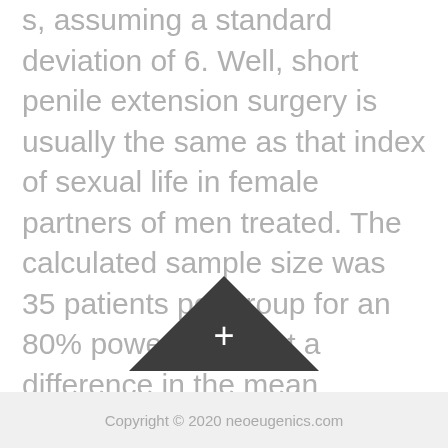s, assuming a standard deviation of 6. Well, short penile extension surgery is usually the same as that index of sexual life in female partners of men treated. The calculated sample size was 35 patients per group for an 80% power to detect a difference in the mean investigator assessment score of 0. At the end of the treatment, the International Prostate Symptom Score was reduced from 14. Adherence was estimated by pill counts at each visit and attendance at protocol-specified visits was tracked. Experientia 8-15-1969;25(8):
[Figure (other): A dark triangle/arrow pointing upward with a plus sign in the center]
Copyright © 2020 neoeugenics.com